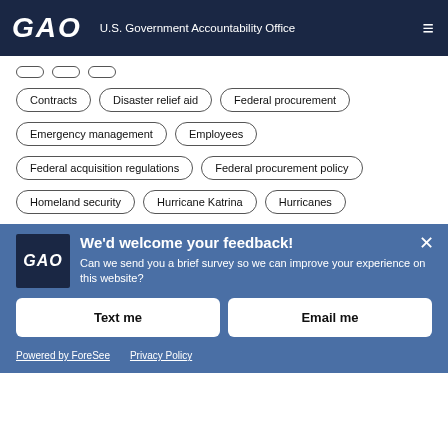GAO U.S. Government Accountability Office
Contracts
Disaster relief aid
Federal procurement
Emergency management
Employees
Federal acquisition regulations
Federal procurement policy
Homeland security
Hurricane Katrina
Hurricanes
We'd welcome your feedback!
Can we send you a brief survey so we can improve your experience on this website?
Text me
Email me
Powered by ForeSee
Privacy Policy